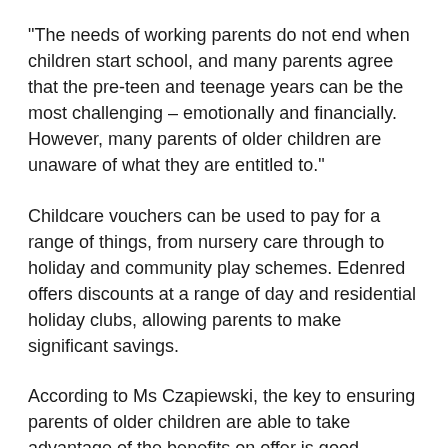“The needs of working parents do not end when children start school, and many parents agree that the pre-teen and teenage years can be the most challenging – emotionally and financially. However, many parents of older children are unaware of what they are entitled to.”
Childcare vouchers can be used to pay for a range of things, from nursery care through to holiday and community play schemes. Edenred offers discounts at a range of day and residential holiday clubs, allowing parents to make significant savings.
According to Ms Czapiewski, the key to ensuring parents of older children are able to take advantage of the benefits on offer is good communication.
She said: “When launching a family friendly benefit, it is tempting for businesses to use images of babies and toddlers